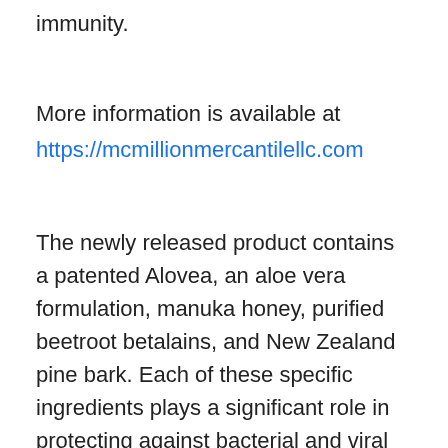immunity.
More information is available at
https://mcmillionmercantilellc.com
The newly released product contains a patented Alovea, an aloe vera formulation, manuka honey, purified beetroot betalains, and New Zealand pine bark. Each of these specific ingredients plays a significant role in protecting against bacterial and viral infections.